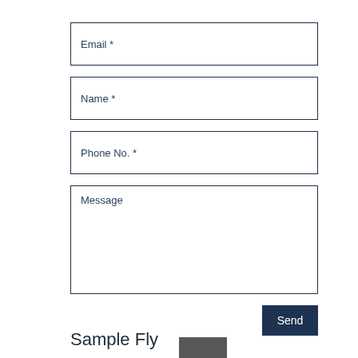Email *
Name *
Phone No. *
Message
Send
Sample Fly